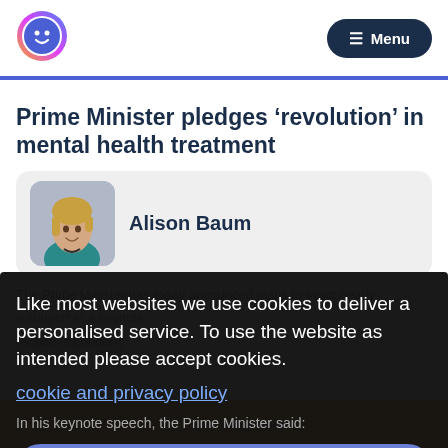[Figure (logo): Circular logo with a smiling face icon with rainbow-colored gradient ring]
≡ Menu
Prime Minister pledges ‘revolution’ in mental health treatment
[Figure (photo): Photo of Alison Baum, a woman with short blonde hair wearing a teal jacket]
Alison Baum
Like most websites we use cookies to deliver a personalised service. To use the website as intended please accept cookies.
cookie and privacy policy
Accept Cookies
Get help now